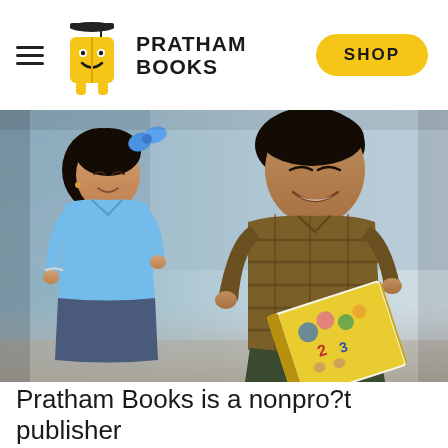PRATHAM BOOKS
[Figure (photo): Two school-age children, a girl in a blue school uniform with a blue bow in her braided hair and a boy in a plaid shirt, sitting together and smiling while reading a yellow book. They appear to be in a school corridor.]
Pratham Books is a nonpro?t publisher